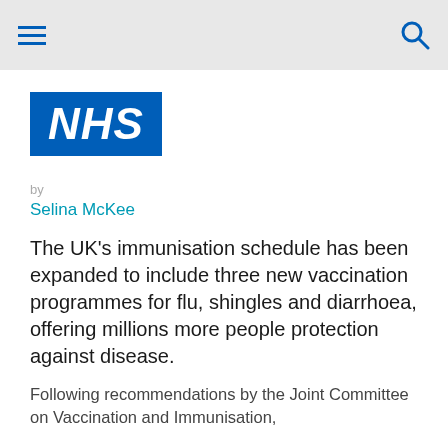NHS navigation header with hamburger menu and search icon
[Figure (logo): NHS logo — white italic bold text on blue rectangle background]
by
Selina McKee
The UK's immunisation schedule has been expanded to include three new vaccination programmes for flu, shingles and diarrhoea, offering millions more people protection against disease.
Following recommendations by the Joint Committee on Vaccination and Immunisation,